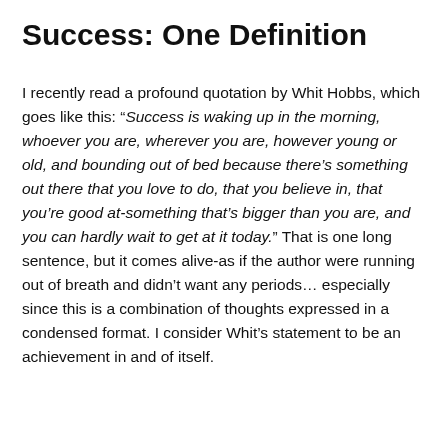Success: One Definition
I recently read a profound quotation by Whit Hobbs, which goes like this: “Success is waking up in the morning, whoever you are, wherever you are, however young or old, and bounding out of bed because there’s something out there that you love to do, that you believe in, that you’re good at-something that’s bigger than you are, and you can hardly wait to get at it today.” That is one long sentence, but it comes alive-as if the author were running out of breath and didn’t want any periods… especially since this is a combination of thoughts expressed in a condensed format. I consider Whit’s statement to be an achievement in and of itself.